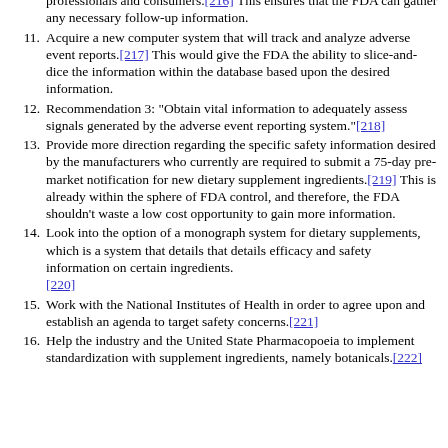professionals and consumers.[216] This ensures that the FDA can gather any necessary follow-up information.
11. Acquire a new computer system that will track and analyze adverse event reports.[217] This would give the FDA the ability to slice-and-dice the information within the database based upon the desired information.
12. Recommendation 3: "Obtain vital information to adequately assess signals generated by the adverse event reporting system."[218]
13. Provide more direction regarding the specific safety information desired by the manufacturers who currently are required to submit a 75-day pre-market notification for new dietary supplement ingredients.[219] This is already within the sphere of FDA control, and therefore, the FDA shouldn't waste a low cost opportunity to gain more information.
14. Look into the option of a monograph system for dietary supplements, which is a system that details that details efficacy and safety information on certain ingredients.[220]
15. Work with the National Institutes of Health in order to agree upon and establish an agenda to target safety concerns.[221]
16. Help the industry and the United State Pharmacopoeia to implement standardization with supplement ingredients, namely botanicals.[222]